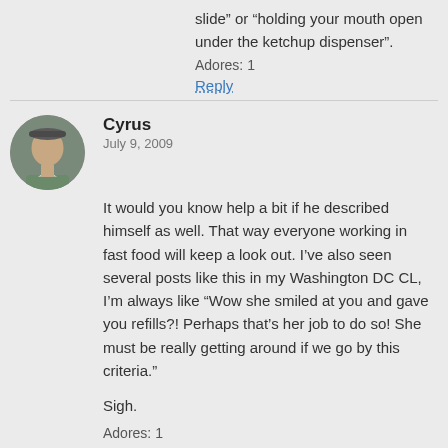slide” or “holding your mouth open under the ketchup dispenser”.
Adores: 1
Reply
Cyrus
July 9, 2009
It would you know help a bit if he described himself as well. That way everyone working in fast food will keep a look out. I’ve also seen several posts like this in my Washington DC CL, I’m always like “Wow she smiled at you and gave you refills?! Perhaps that’s her job to do so! She must be really getting around if we go by this criteria.”
Sigh.
Adores: 1
Reply